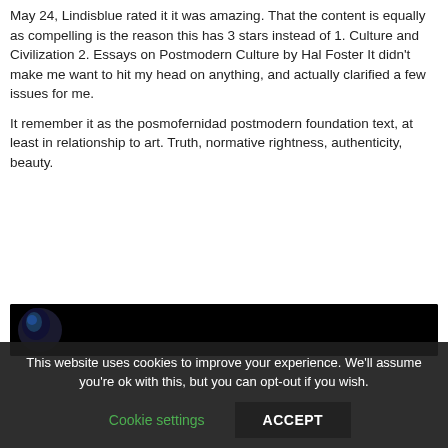May 24, Lindisblue rated it it was amazing. That the content is equally as compelling is the reason this has 3 stars instead of 1. Culture and Civilization 2. Essays on Postmodern Culture by Hal Foster It didn't make me want to hit my head on anything, and actually clarified a few issues for me.
It remember it as the posmofernidad postmodern foundation text, at least in relationship to art. Truth, normative rightness, authenticity, beauty.
[Figure (photo): Dark/black image strip with a circular avatar showing a partial face with blue tones on the left side]
This website uses cookies to improve your experience. We'll assume you're ok with this, but you can opt-out if you wish.
Cookie settings   ACCEPT